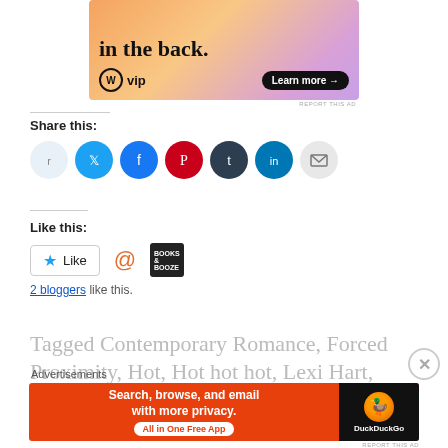[Figure (illustration): WordPress VIP advertisement banner with orange/peach gradient background, text 'in the back.', WordPress W circle logo, 'vip' text, and 'Learn more →' button]
REPORT THIS AD
Share this:
[Figure (illustration): Row of social sharing icon buttons: Reddit (light blue), Twitter (blue), Facebook (blue), Pinterest (red), Tumblr (dark), LinkedIn (blue), Email (gray)]
Like this:
[Figure (illustration): Like button widget with star icon and 'Like' text, followed by two blogger avatar icons (orange @ symbol and dark square with text)]
2 bloggers like this.
Tagged Contemporary Romance, Forced Proximity, Hot, Hot hot hot, Lexi Hart,
Advertisements
[Figure (illustration): DuckDuckGo advertisement banner: orange background with text 'Search, browse, and email with more privacy. All in One Free App' and DuckDuckGo logo on dark background]